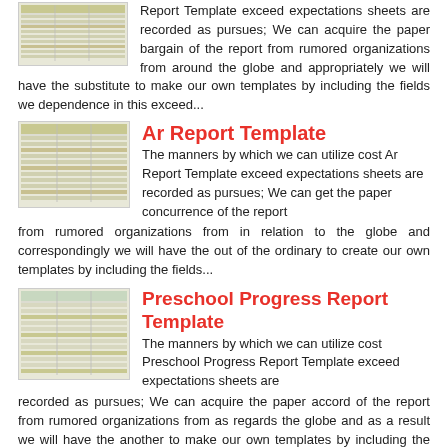Report Template exceed expectations sheets are recorded as pursues; We can acquire the paper bargain of the report from rumored organizations from around the globe and appropriately we will have the substitute to make our own templates by including the fields we dependence in this exceed...
[Figure (illustration): Thumbnail image of a spreadsheet/table document]
Ar Report Template
The manners by which we can utilize cost Ar Report Template exceed expectations sheets are recorded as pursues; We can get the paper concurrence of the report from rumored organizations from in relation to the globe and correspondingly we will have the out of the ordinary to create our own templates by including the fields...
[Figure (illustration): Thumbnail image of a spreadsheet/table document]
Preschool Progress Report Template
The manners by which we can utilize cost Preschool Progress Report Template exceed expectations sheets are recorded as pursues; We can acquire the paper accord of the report from rumored organizations from as regards the globe and as a result we will have the another to make our own templates by including the fields we...